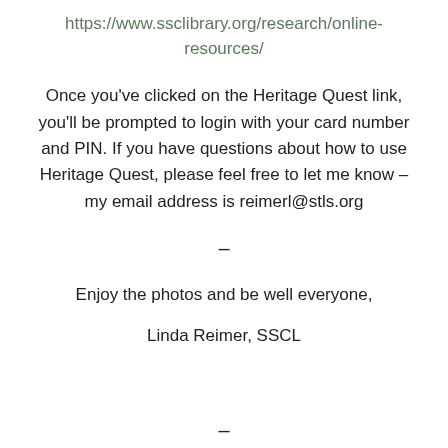https://www.ssclibrary.org/research/online-resources/
Once you’ve clicked on the Heritage Quest link, you’ll be prompted to login with your card number and PIN. If you have questions about how to use Heritage Quest, please feel free to let me know – my email address is reimerl@stls.org
–
Enjoy the photos and be well everyone,
Linda Reimer, SSCL
–